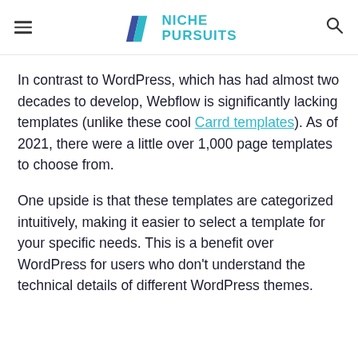NICHE PURSUITS
In contrast to WordPress, which has had almost two decades to develop, Webflow is significantly lacking templates (unlike these cool Carrd templates). As of 2021, there were a little over 1,000 page templates to choose from.
One upside is that these templates are categorized intuitively, making it easier to select a template for your specific needs. This is a benefit over WordPress for users who don't understand the technical details of different WordPress themes.